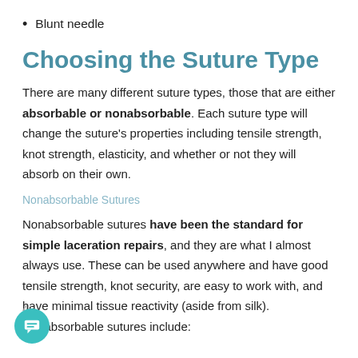Blunt needle
Choosing the Suture Type
There are many different suture types, those that are either absorbable or nonabsorbable. Each suture type will change the suture's properties including tensile strength, knot strength, elasticity, and whether or not they will absorb on their own.
Nonabsorbable Sutures
Nonabsorbable sutures have been the standard for simple laceration repairs, and they are what I almost always use. These can be used anywhere and have good tensile strength, knot security, are easy to work with, and have minimal tissue reactivity (aside from silk). Nonabsorbable sutures include: